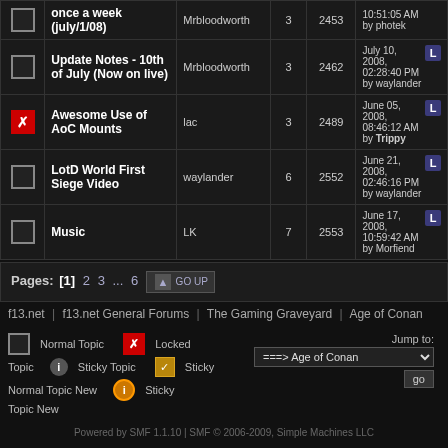|  | Topic | Started by | Replies | Views | Last post |
| --- | --- | --- | --- | --- | --- |
|  | once a week (july/1/08) | Mrbloodworth | 3 | 2453 | 10:51:05 AM by photek |
|  | Update Notes - 10th of July (Now on live) | Mrbloodworth | 3 | 2462 | July 10, 2008, 02:28:40 PM by waylander |
| X | Awesome Use of AoC Mounts | lac | 3 | 2489 | June 05, 2008, 08:46:12 AM by Trippy |
|  | LotD World First Siege Video | waylander | 6 | 2552 | June 21, 2008, 02:46:16 PM by waylander |
|  | Music | LK | 7 | 2553 | June 17, 2008, 10:59:42 AM by Morfiend |
Pages: [1] 2 3 ... 6  GO UP
f13.net  |  f13.net General Forums  |  The Gaming Graveyard  |  Age of Conan
Normal Topic  Locked  Topic  Sticky Topic  Normal Topic New  Sticky  Topic New
Jump to: ===> Age of Conan  go
Powered by SMF 1.1.10 | SMF © 2006-2009, Simple Machines LLC